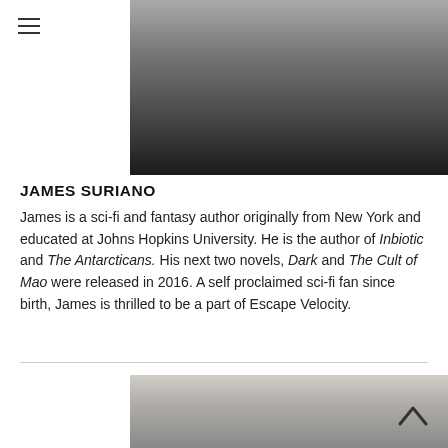ESCAPE VELOCITY
[Figure (photo): Top portion of a person wearing dark clothing, photo cropped at top of page]
JAMES SURIANO
James is a sci-fi and fantasy author originally from New York and educated at Johns Hopkins University. He is the author of Inbiotic and The Antarcticans. His next two novels, Dark and The Cult of Mao were released in 2016. A self proclaimed sci-fi fan since birth, James is thrilled to be a part of Escape Velocity.
[Figure (photo): Top portion of another person with dark hair, photo cropped at bottom of page]